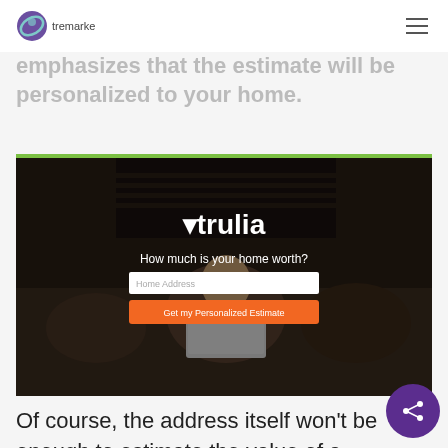tremarke (logo) | hamburger menu
emphasizes that the estimate will be personalized to your home.
[Figure (screenshot): Trulia website screenshot showing 'How much is your home worth?' with address input field and 'Get my Personalized Estimate' orange button, overlaid on a dark background photo of a person sitting on a couch.]
Of course, the address itself won't be enough to estimate the value of a home. It just denotes the home's neighborhood. The zip code even follows it...